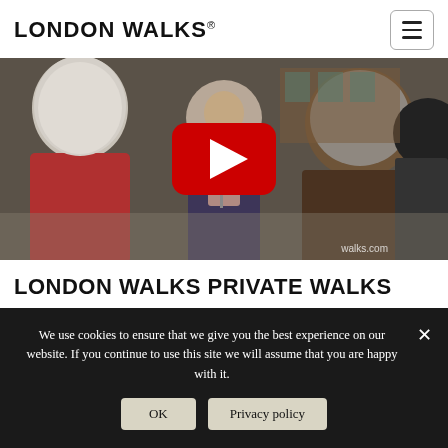LONDON WALKS®
[Figure (photo): Video thumbnail showing a tour guide in a purple coat with a pink scarf speaking to a group of people on a London street. A red YouTube play button overlay is visible in the center. The watermark 'walks.com' appears in the bottom right corner.]
LONDON WALKS PRIVATE WALKS
We use cookies to ensure that we give you the best experience on our website. If you continue to use this site we will assume that you are happy with it.
OK   Privacy policy